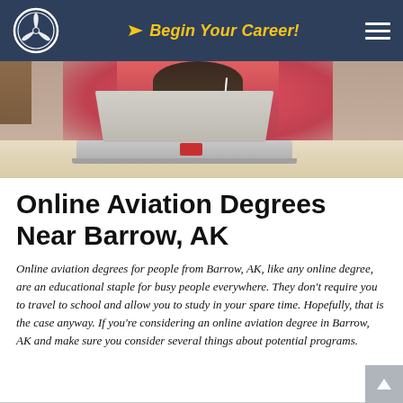Begin Your Career!
[Figure (photo): Person in a pink hoodie with earphones working on a laptop on a light-colored desk, with a red phone beside the laptop.]
Online Aviation Degrees Near Barrow, AK
Online aviation degrees for people from Barrow, AK, like any online degree, are an educational staple for busy people everywhere. They don't require you to travel to school and allow you to study in your spare time. Hopefully, that is the case anyway. If you're considering an online aviation degree in Barrow, AK and make sure you consider several things about potential programs.